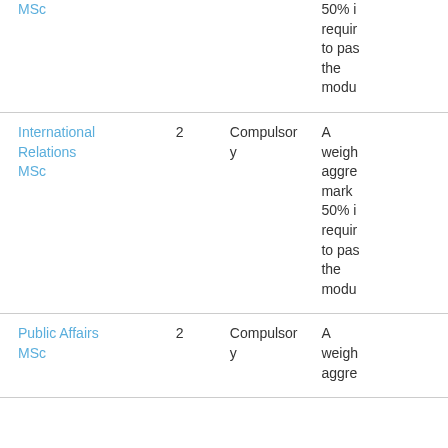| Program | Year | Type | Description |
| --- | --- | --- | --- |
| MSc |  |  | 50%... required to pass the module |
| International Relations MSc | 2 | Compulsory | A weighted aggregate mark 50% is required to pass the module |
| Public Affairs MSc | 2 | Compulsory | A weighted aggre... |